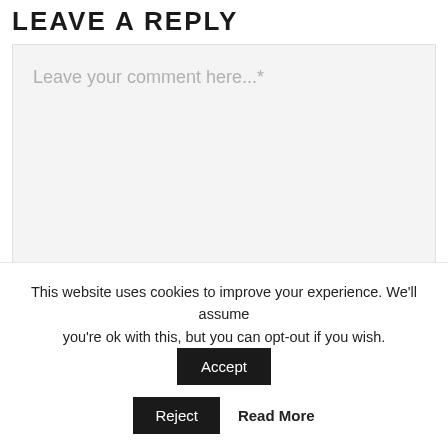LEAVE A REPLY
Leave your comment here...*
Name*
Email Address*
This website uses cookies to improve your experience. We'll assume you're ok with this, but you can opt-out if you wish.
Accept
Reject
Read More